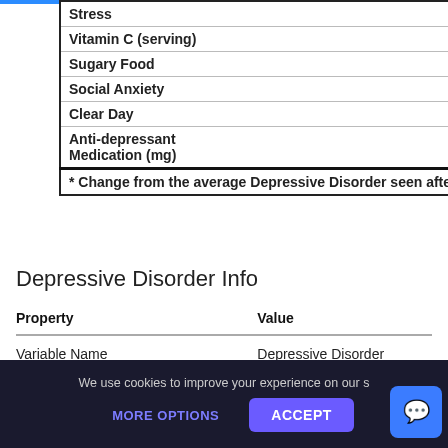|  |  |
| --- | --- |
| Stress | ↑00% Higher |
| Vitamin C (serving) | ↑2% Higher |
| Sugary Food | ↑4.7% Higher |
| Social Anxiety | ↑8.2% Higher |
| Clear Day | ↑0.1% Higher |
| Anti-depressant Medication (mg) | ↓0% Lower |
| * Change from the average Depressive Disorder seen after the predictor is higher than average. |  |
Depressive Disorder Info
| Property | Value |
| --- | --- |
| Variable Name | Depressive Disorder |
| Aggregation Method | MEAN |
| Analysis Performed At | 2020-09-23 |
We use cookies to improve your experience on our s